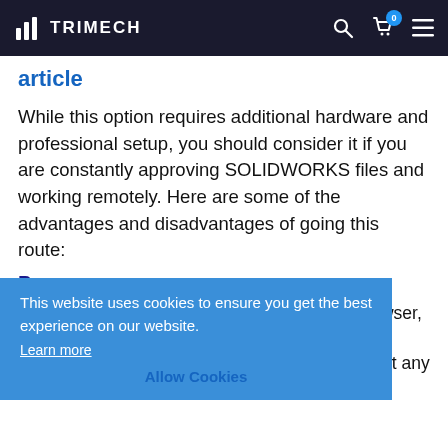TRIMECH
article
While this option requires additional hardware and professional setup, you should consider it if you are constantly approving SOLIDWORKS files and working remotely. Here are some of the advantages and disadvantages of going this route:
Pros:
No client install: Since this runs on your browser, you do not need to install options for mobile connection and browser independence. Almost any device can be
This website uses cookies to ensure you get the best experience on our website. Learn more Allow Cookies